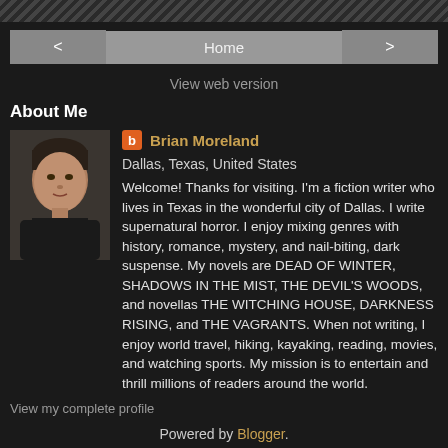stripe bar
< Home >
View web version
About Me
[Figure (photo): Profile photo of Brian Moreland, a man in dark clothing against a dark background]
Brian Moreland
Dallas, Texas, United States
Welcome! Thanks for visiting. I'm a fiction writer who lives in Texas in the wonderful city of Dallas. I write supernatural horror. I enjoy mixing genres with history, romance, mystery, and nail-biting, dark suspense. My novels are DEAD OF WINTER, SHADOWS IN THE MIST, THE DEVIL'S WOODS, and novellas THE WITCHING HOUSE, DARKNESS RISING, and THE VAGRANTS. When not writing, I enjoy world travel, hiking, kayaking, reading, movies, and watching sports. My mission is to entertain and thrill millions of readers around the world.
View my complete profile
Powered by Blogger.